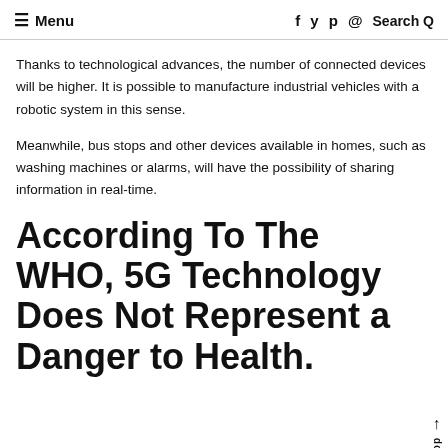≡ Menu   f  y  p  ○  Search Q
Thanks to technological advances, the number of connected devices will be higher. It is possible to manufacture industrial vehicles with a robotic system in this sense.
Meanwhile, bus stops and other devices available in homes, such as washing machines or alarms, will have the possibility of sharing information in real-time.
According To The WHO, 5G Technology Does Not Represent a Danger to Health.